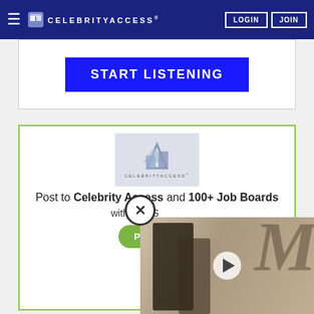CelebrityAccess — LOGIN | JOIN
[Figure (screenshot): Blue 'START LISTENING' button banner advertisement]
[Figure (infographic): CelebrityAccess job board advertisement: Post to Celebrity Access and 100+ Job Boards with One Submission. Post a Job button. Powered by ZipRecruiter.]
[Figure (photo): Video thumbnail showing two people at an event with a play button overlay and close (X) button]